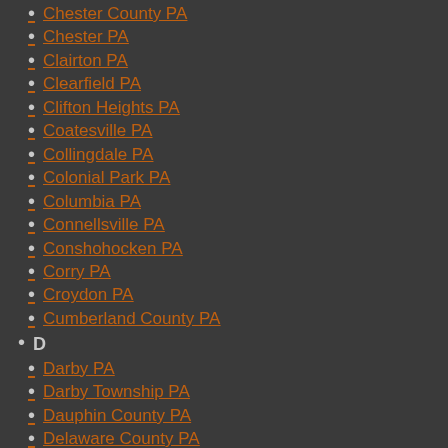Chester County PA
Chester PA
Clairton PA
Clearfield PA
Clifton Heights PA
Coatesville PA
Collingdale PA
Colonial Park PA
Columbia PA
Connellsville PA
Conshohocken PA
Corry PA
Croydon PA
Cumberland County PA
D
Darby PA
Darby Township PA
Dauphin County PA
Delaware County PA
Dickson City PA
Dormont PA
Downingtown PA
Doylestown PA